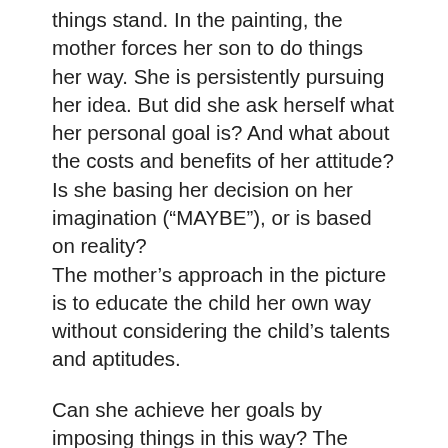things stand. In the painting, the mother forces her son to do things her way. She is persistently pursuing her idea. But did she ask herself what her personal goal is? And what about the costs and benefits of her attitude? Is she basing her decision on her imagination (“MAYBE”), or is based on reality? The mother’s approach in the picture is to educate the child her own way without considering the child’s talents and aptitudes.
Can she achieve her goals by imposing things in this way? The problem is that we rarely impose things based on the result we want to achieve (i.e., of our aim). Rather, they tend to be based on the expectations we have (they are based on “MAYBE”, or wishful thinking). This is uneconomical